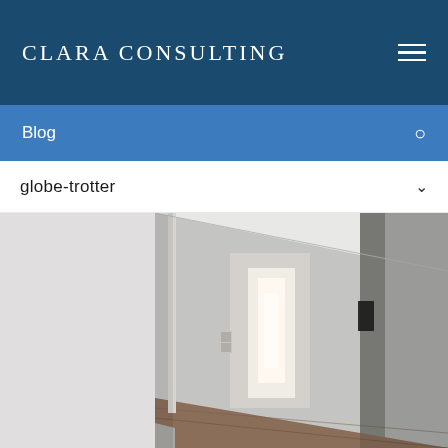CLARA CONSULTING
Blog
globe-trotter
[Figure (photo): Interior corridor/hallway of a building. A long white hallway with doors on sides leading to a bright room at the end. Tiled floor visible. Wall-mounted light switch panel on left wall.]